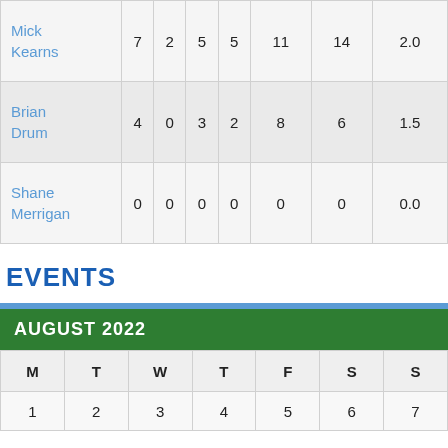| Player | Col1 | Col2 | Col3 | Col4 | Col5 | Col6 | Col7 |
| --- | --- | --- | --- | --- | --- | --- | --- |
| Mick Kearns | 7 | 2 | 5 | 5 | 11 | 14 | 2.0 |
| Brian Drum | 4 | 0 | 3 | 2 | 8 | 6 | 1.5 |
| Shane Merrigan | 0 | 0 | 0 | 0 | 0 | 0 | 0.0 |
EVENTS
| M | T | W | T | F | S | S |
| --- | --- | --- | --- | --- | --- | --- |
| 1 | 2 | 3 | 4 | 5 | 6 | 7 |